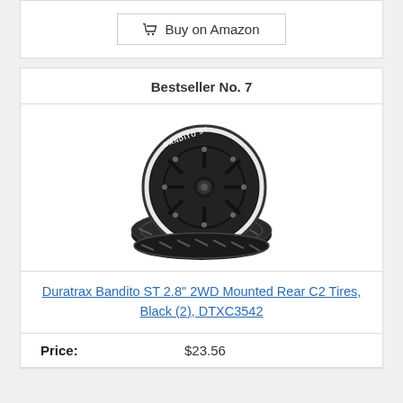[Figure (other): Buy on Amazon button with shopping cart icon]
Bestseller No. 7
[Figure (photo): Duratrax Bandito ST 2.8 inch 2WD mounted rear tires, black, shown as two tires stacked]
Duratrax Bandito ST 2.8" 2WD Mounted Rear C2 Tires, Black (2), DTXC3542
Price: $23.56